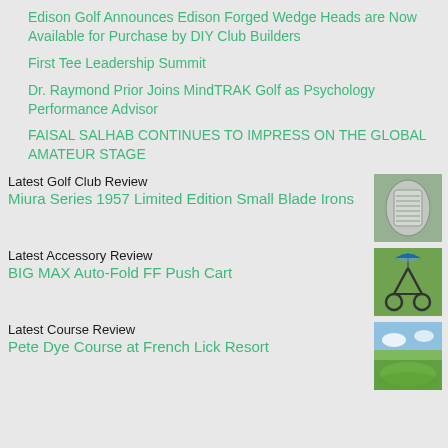Edison Golf Announces Edison Forged Wedge Heads are Now Available for Purchase by DIY Club Builders
First Tee Leadership Summit
Dr. Raymond Prior Joins MindTRAK Golf as Psychology Performance Advisor
FAISAL SALHAB CONTINUES TO IMPRESS ON THE GLOBAL AMATEUR STAGE
Latest Golf Club Review
Miura Series 1957 Limited Edition Small Blade Irons
[Figure (photo): Golf iron club head close-up photo]
Latest Accessory Review
BIG MAX Auto-Fold FF Push Cart
[Figure (photo): Push cart on golf course photo]
Latest Course Review
Pete Dye Course at French Lick Resort
[Figure (photo): Golf course landscape photo]